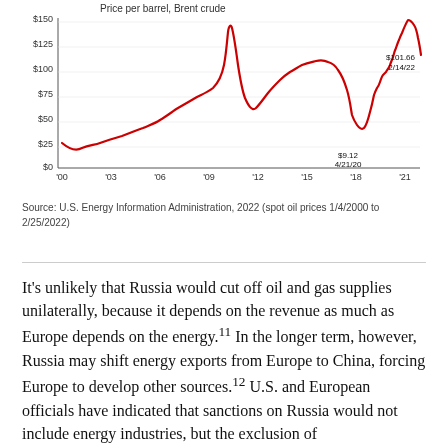[Figure (line-chart): Price per barrel, Brent crude]
Source: U.S. Energy Information Administration, 2022 (spot oil prices 1/4/2000 to 2/25/2022)
It's unlikely that Russia would cut off oil and gas supplies unilaterally, because it depends on the revenue as much as Europe depends on the energy.11 In the longer term, however, Russia may shift energy exports from Europe to China, forcing Europe to develop other sources.12 U.S. and European officials have indicated that sanctions on Russia would not include energy industries, but the exclusion of